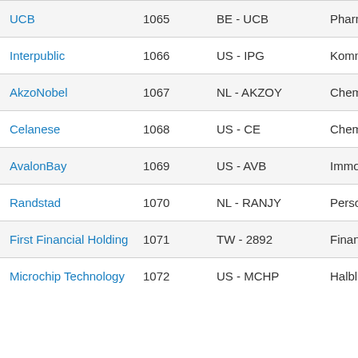| Name | ID | Ticker | Branche |
| --- | --- | --- | --- |
| UCB | 1065 | BE - UCB | Pharma… |
| Interpublic | 1066 | US - IPG | Kommu… |
| AkzoNobel | 1067 | NL - AKZOY | Chemie… |
| Celanese | 1068 | US - CE | Chemie… |
| AvalonBay | 1069 | US - AVB | Immobil… |
| Randstad | 1070 | NL - RANJY | Persona… |
| First Financial Holding | 1071 | TW - 2892 | Finanzd… |
| Microchip Technology | 1072 | US - MCHP | Halbleite… |